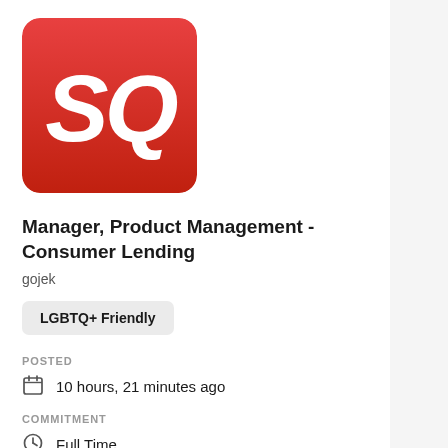[Figure (logo): SQ logo: bold italic white 'SQ' letters on a red-to-darker-red gradient square background]
Manager, Product Management - Consumer Lending
gojek
LGBTQ+ Friendly
POSTED
10 hours, 21 minutes ago
COMMITMENT
Full Time